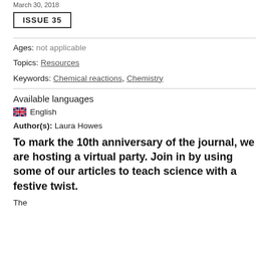March 30, 2018
ISSUE 35
Ages: not applicable
Topics: Resources
Keywords: Chemical reactions, Chemistry
Available languages
English
Author(s): Laura Howes
To mark the 10th anniversary of the journal, we are hosting a virtual party. Join in by using some of our articles to teach science with a festive twist.
The